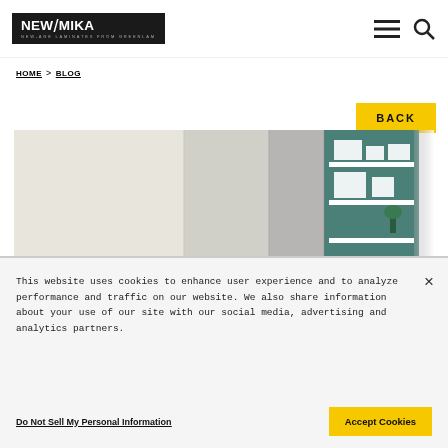[Figure (logo): New Mika logo — black rectangle with white text 'NEW/MIKA' and subtitle 'NEW-AGE LAMINATES FROM GREENLAM']
HOME > BLOG
BACK
[Figure (photo): Interior photo showing wardrobe/cabinet panels in light cream/grey tones on the left and an open shelving unit with teal/green back panel on the right, with white items on shelves]
This website uses cookies to enhance user experience and to analyze performance and traffic on our website. We also share information about your use of our site with our social media, advertising and analytics partners.
Do Not Sell My Personal Information
Accept Cookies